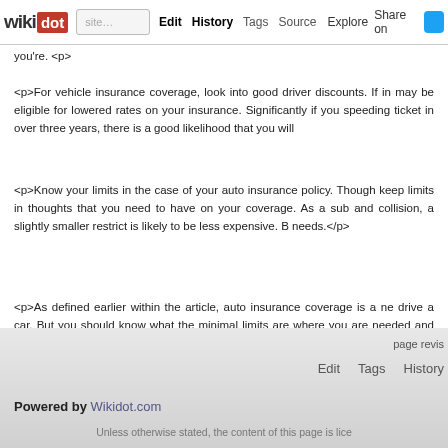wikidot | Edit | History | Tags | Source | Explore | Share on [Twitter]
you're. </p>
<p>For vehicle insurance coverage, look into good driver discounts. If in may be eligible for lowered rates on your insurance. Significantly if you speeding ticket in over three years, there is a good likelihood that you will
<p>Know your limits in the case of your auto insurance policy. Though keep limits in thoughts that you need to have on your coverage. As a sub and collision, a slightly smaller restrict is likely to be less expensive. B needs.</p>
<p>As defined earlier within the article, auto insurance coverage is a ne drive a car. But you should know what the minimal limits are where you are needed and that are non-obligatory. By using the information in this t precise cost.</p>
Comments: 0
Add a New Comment
page revis | Edit  Tags  History
Powered by Wikidot.com
Unless otherwise stated, the content of this page is lice